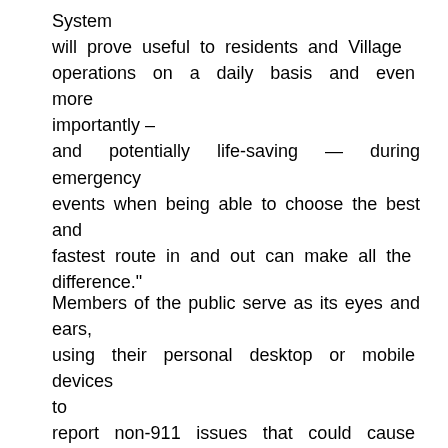System will prove useful to residents and Village operations on a daily basis and even more importantly – and potentially life-saving — during emergency events when being able to choose the best and fastest route in and out can make all the difference."
Members of the public serve as its eyes and ears, using their personal desktop or mobile devices to report non-911 issues that could cause danger or hinder emergency response, such as potholes, downed trees, and electrical outages, allowing trained Village staff to monitor and track incidents remotely, via tablet devices. When any resident